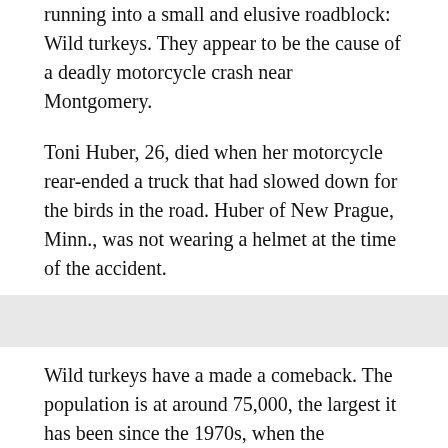running into a small and elusive roadblock: Wild turkeys. They appear to be the cause of a deadly motorcycle crash near Montgomery.
Toni Huber, 26, died when her motorcycle rear-ended a truck that had slowed down for the birds in the road. Huber of New Prague, Minn., was not wearing a helmet at the time of the accident.
Wild turkeys have a made a comeback. The population is at around 75,000, the largest it has been since the 1970s, when the Minnesota Department of Natural Resources began a re-introduction program.
“Most people don’t talk about them. The